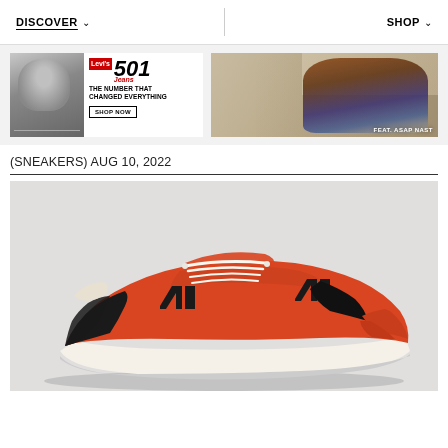DISCOVER ∨   SHOP ∨
[Figure (photo): Levi's 501 Jeans advertisement banner with black and white photo on left and tagline 'THE NUMBER THAT CHANGED EVERYTHING' with SHOP NOW button]
[Figure (photo): Fashion photo of ASAP Nast wearing Levi's jeans, lounging, with text 'FEAT. ASAP NAST']
(SNEAKERS) AUG 10, 2022
[Figure (photo): Orange and black New Balance sneakers with white laces and 'N' logo, photographed against light grey background]